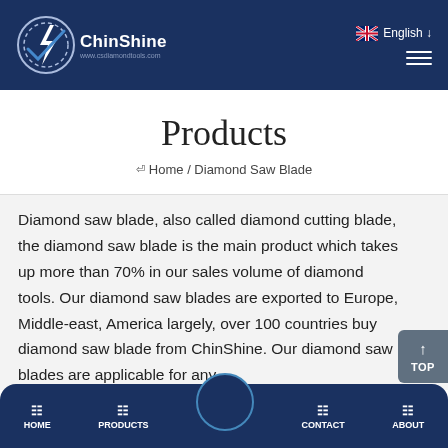ChinShine - www.csdiamondtools.com | English
Products
Home / Diamond Saw Blade
Diamond saw blade, also called diamond cutting blade, the diamond saw blade is the main product which takes up more than 70% in our sales volume of diamond tools. Our diamond saw blades are exported to Europe, Middle-east, America largely, over 100 countries buy diamond saw blade from ChinShine. Our diamond saw blades are applicable for any
HOME | PRODUCTS | CONTACT | ABOUT